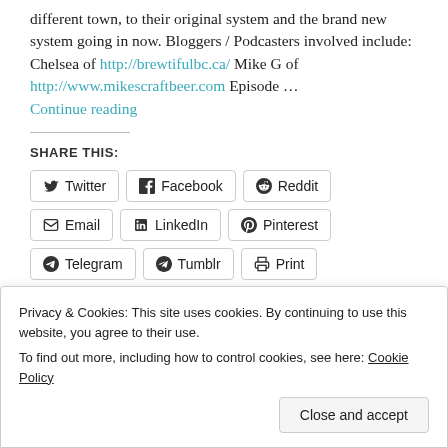different town, to their original system and the brand new system going in now. Bloggers / Podcasters involved include: Chelsea of http://brewtifulbc.ca/ Mike G of http://www.mikescraftbeer.com Episode … Continue reading
SHARE THIS:
Twitter | Facebook | Reddit | Email | LinkedIn | Pinterest | Telegram | Tumblr | Print
Like
Privacy & Cookies: This site uses cookies. By continuing to use this website, you agree to their use. To find out more, including how to control cookies, see here: Cookie Policy